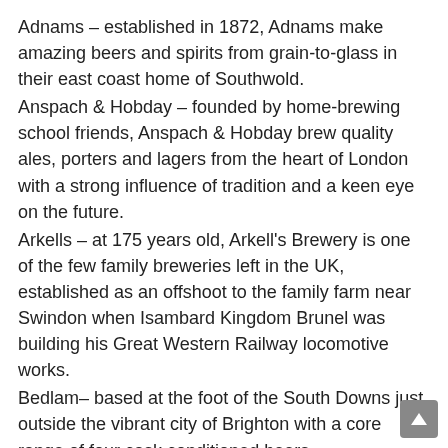Adnams – established in 1872, Adnams make amazing beers and spirits from grain-to-glass in their east coast home of Southwold.
Anspach & Hobday – founded by home-brewing school friends, Anspach & Hobday brew quality ales, porters and lagers from the heart of London with a strong influence of tradition and a keen eye on the future.
Arkells – at 175 years old, Arkell's Brewery is one of the few family breweries left in the UK, established as an offshoot to the family farm near Swindon when Isambard Kingdom Brunel was building his Great Western Railway locomotive works.
Bedlam– based at the foot of the South Downs just outside the vibrant city of Brighton with a core range of four cask conditioned beers complemented by an ever-changing range of exciting seasonal, limited-edition ales.
Bishop Nick – an Essex-based brewery that has won a number of awards including Silver Supreme Champion Beer of Britain